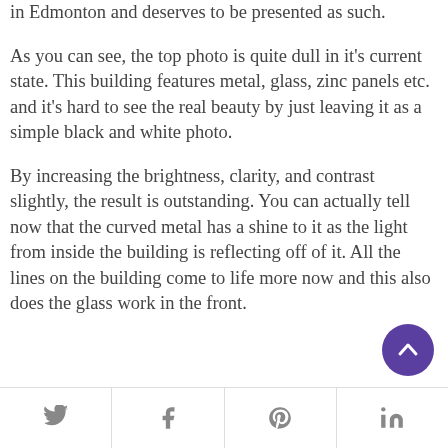in Edmonton and deserves to be presented as such.
As you can see, the top photo is quite dull in it's current state. This building features metal, glass, zinc panels etc. and it's hard to see the real beauty by just leaving it as a simple black and white photo.
By increasing the brightness, clarity, and contrast slightly, the result is outstanding. You can actually tell now that the curved metal has a shine to it as the light from inside the building is reflecting off of it. All the lines on the building come to life more now and this also does the glass work in the front.
Twitter | Facebook | Pinterest | LinkedIn